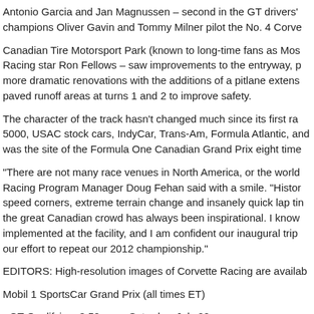Antonio Garcia and Jan Magnussen – second in the GT drivers' champions Oliver Gavin and Tommy Milner pilot the No. 4 Corve
Canadian Tire Motorsport Park (known to long-time fans as Mos Racing star Ron Fellows – saw improvements to the entryway, p more dramatic renovations with the additions of a pitlane extens paved runoff areas at turns 1 and 2 to improve safety.
The character of the track hasn't changed much since its first ra 5000, USAC stock cars, IndyCar, Trans-Am, Formula Atlantic, an was the site of the Formula One Canadian Grand Prix eight time
“There are not many race venues in North America, or the world Racing Program Manager Doug Fehan said with a smile. “Histor speed corners, extreme terrain change and insanely quick lap tin the great Canadian crowd has always been inspirational. I know implemented at the facility, and I am confident our inaugural trip our effort to repeat our 2012 championship.”
EDITORS: High-resolution images of Corvette Racing are availab
Mobil 1 SportsCar Grand Prix (all times ET)
• GT Qualifying: 3:50 p.m., Saturday, July 20